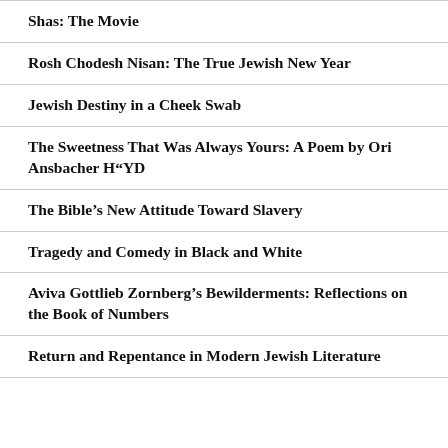Shas: The Movie
Rosh Chodesh Nisan: The True Jewish New Year
Jewish Destiny in a Cheek Swab
The Sweetness That Was Always Yours: A Poem by Ori Ansbacher H"YD
The Bible’s New Attitude Toward Slavery
Tragedy and Comedy in Black and White
Aviva Gottlieb Zornberg’s Bewilderments: Reflections on the Book of Numbers
Return and Repentance in Modern Jewish Literature